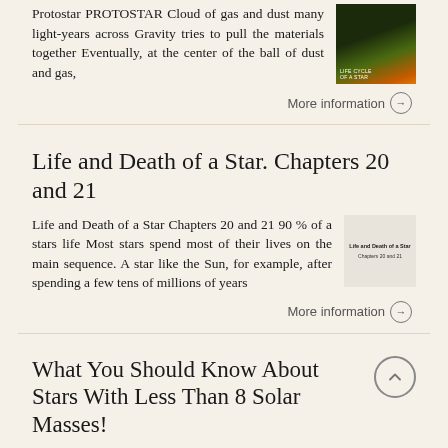Protostar PROTOSTAR Cloud of gas and dust many light-years across Gravity tries to pull the materials together Eventually, at the center of the ball of dust and gas,
[Figure (illustration): Book thumbnail with dark green and orange gradient design, text 'Life Cycle of a Star']
More information →
Life and Death of a Star. Chapters 20 and 21
Life and Death of a Star Chapters 20 and 21 90 % of a stars life Most stars spend most of their lives on the main sequence. A star like the Sun, for example, after spending a few tens of millions of years
[Figure (illustration): Book thumbnail with text 'Life and Death of a Star' and 'Chapters 20 and 21']
More information →
What You Should Know About Stars With Less Than 8 Solar Masses!